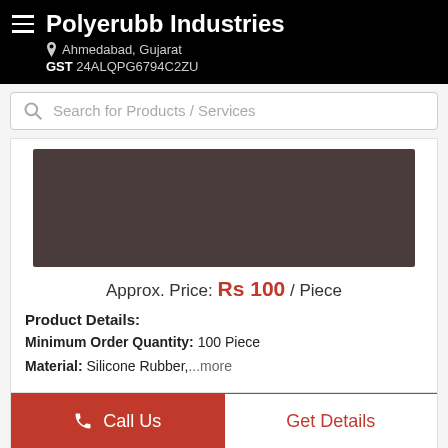Polyerubb Industries
Ahmedabad, Gujarat
GST 24ALQPG6794C2ZU
Search for Products / Services
[Figure (photo): Product image with dark brownish-gray background]
Approx. Price: Rs 100 / Piece
Product Details:
Minimum Order Quantity: 100 Piece
Material: Silicone Rubber,...more
Call Us
Get Details
Rubber Moulded Products